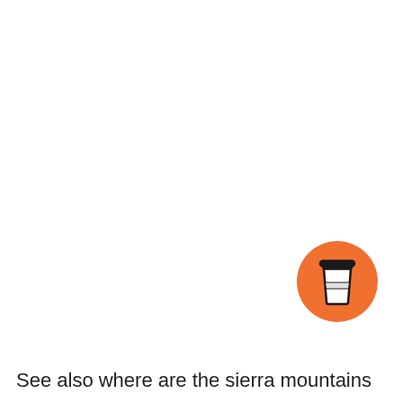[Figure (illustration): Orange circular button/badge with a coffee cup (takeaway cup) icon in black and white, positioned in the lower-right area of the page]
See also where are the sierra mountains